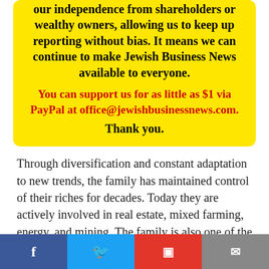our independence from shareholders or wealthy owners, allowing us to keep up reporting without bias. It means we can continue to make Jewish Business News available to everyone.
You can support us for as little as $1 via PayPal at office@jewishbusinessnews.com. Thank you.
Through diversification and constant adaptation to new trends, the family has maintained control of their riches for decades. Today they are actively involved in real estate, mixed farming, energy, and mining. The family is also one of the biggest philanthropists.
With a fortune of more than $500 billion according to Forbes, the Rothschilds hold one of the largest privatefortunes in the world. Some say they will reach $1 [TRILLION] YES. They